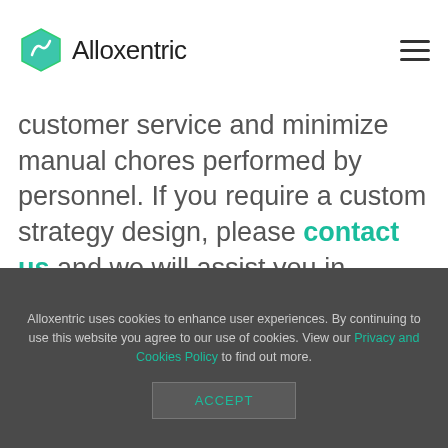Alloxentric
customer service and minimize manual chores performed by personnel. If you require a custom strategy design, please contact us and we will assist you in determining the most effective
Alloxentric uses cookies to enhance user experiences. By continuing to use this website you agree to our use of cookies. View our Privacy and Cookies Policy to find out more. ACCEPT